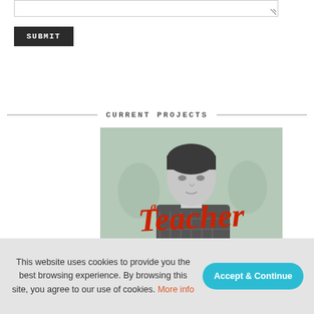[Figure (screenshot): Textarea input box with resize handle at top of page]
SUBMIT
CURRENT PROJECTS
[Figure (photo): Movie poster for 'A Teacher' showing a young man in black and white with red cursive title text. Caption reads 'NICK AS ERIC WALKER']
This website uses cookies to provide you the best browsing experience. By browsing this site, you agree to our use of cookies. More info